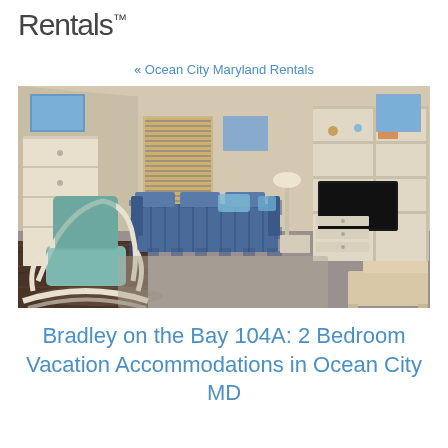Rentals.
« Ocean City Maryland Rentals
[Figure (photo): Interior photo of a vacation rental living room with light wood-paneled walls, a blue plaid sofa, a rocking chair with teal cushion, a large entertainment unit with TV, and framed artwork on the walls.]
Bradley on the Bay 104A: 2 Bedroom Vacation Accommodations in Ocean City MD